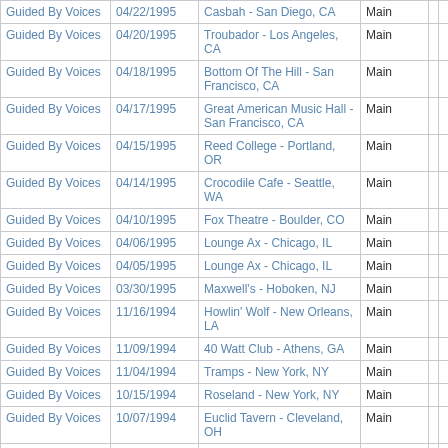| Artist | Date | Venue | Stage |  |  |
| --- | --- | --- | --- | --- | --- |
| Guided By Voices | 04/22/1995 | Casbah - San Diego, CA | Main |  |  |
| Guided By Voices | 04/20/1995 | Troubador - Los Angeles, CA | Main |  |  |
| Guided By Voices | 04/18/1995 | Bottom Of The Hill - San Francisco, CA | Main |  |  |
| Guided By Voices | 04/17/1995 | Great American Music Hall - San Francisco, CA | Main |  |  |
| Guided By Voices | 04/15/1995 | Reed College - Portland, OR | Main |  |  |
| Guided By Voices | 04/14/1995 | Crocodile Cafe - Seattle, WA | Main |  |  |
| Guided By Voices | 04/10/1995 | Fox Theatre - Boulder, CO | Main |  |  |
| Guided By Voices | 04/06/1995 | Lounge Ax - Chicago, IL | Main |  |  |
| Guided By Voices | 04/05/1995 | Lounge Ax - Chicago, IL | Main |  |  |
| Guided By Voices | 03/30/1995 | Maxwell's - Hoboken, NJ | Main |  |  |
| Guided By Voices | 11/16/1994 | Howlin' Wolf - New Orleans, LA | Main |  |  |
| Guided By Voices | 11/09/1994 | 40 Watt Club - Athens, GA | Main |  |  |
| Guided By Voices | 11/04/1994 | Tramps - New York, NY | Main |  |  |
| Guided By Voices | 10/15/1994 | Roseland - New York, NY | Main |  |  |
| Guided By Voices | 10/07/1994 | Euclid Tavern - Cleveland, OH | Main |  |  |
| Guided By Voices | 10/01/1994 | Lounge Ax - Chicago, IL | Main |  |  |